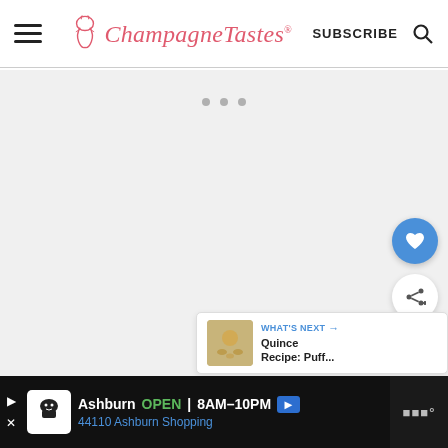ChampagneTastes® — SUBSCRIBE
[Figure (screenshot): Loading/blank content area with three gray dots indicating loading state, blue heart favorite button, white share button, and What's Next panel showing Quince Recipe: Puff...]
[Figure (infographic): Advertisement bar: Ashburn OPEN 8AM-10PM, 44110 Ashburn Shopping, with chef logo icon]
WHAT'S NEXT → Quince Recipe: Puff...
Ashburn OPEN 8AM–10PM
44110 Ashburn Shopping